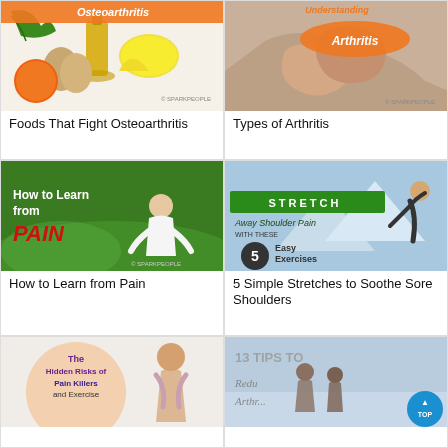[Figure (photo): Foods that fight osteoarthritis - olive oil, eggs, oranges, lemon, kale with SparkPeople watermark]
Foods That Fight Osteoarthritis
[Figure (photo): Understanding Arthritis - two people holding hands with text overlay, SparkPeople watermark]
Types of Arthritis
[Figure (photo): How to Learn from PAIN - woman meditating in yoga pose on grass, SparkPeople watermark]
How to Learn from Pain
[Figure (photo): STRETCH Away Shoulder Pain with These 5 Easy Exercises - woman stretching, mountains in background]
5 Simple Stretches to Soothe Sore Shoulders
[Figure (photo): The Hidden Risks of Pain Killers and Exercise - woman with towel around neck]
[Figure (photo): 13 Tips to Reduce Arthritis - people outdoors]